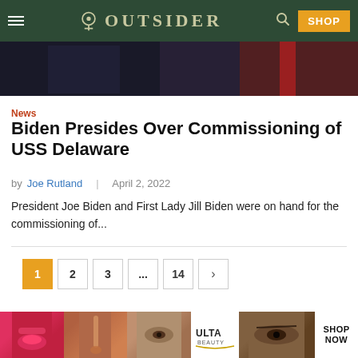OUTSIDER
[Figure (photo): Partial hero image showing people in formal/ceremonial attire, cropped at top of frame — dark clothing and flag colors visible]
News
Biden Presides Over Commissioning of USS Delaware
by Joe Rutland  |  April 2, 2022
President Joe Biden and First Lady Jill Biden were on hand for the commissioning of...
[Figure (infographic): Pagination controls: page 1 (active/highlighted orange), 2, 3, ..., 14, > (next arrow)]
[Figure (photo): Bottom advertisement banner for ULTA beauty — makeup/cosmetics images with SHOP NOW button]